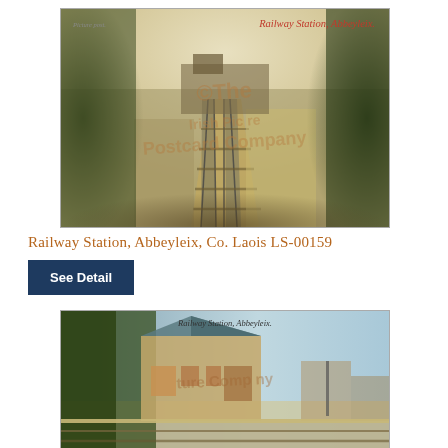[Figure (photo): Vintage postcard photograph of Railway Station, Abbeyleix, viewed from the tracks looking toward the station buildings, flanked by trees on both sides. Has a watermark '©The Irish Picture Company' overlaid diagonally.]
Railway Station, Abbeyleix, Co. Laois LS-00159
See Detail
[Figure (photo): Vintage postcard photograph of Railway Station, Abbeyleix, showing the station building exterior from the platform level, with trees on the left and a light sky background. Has a watermark '©The Irish Picture Company' overlaid.]